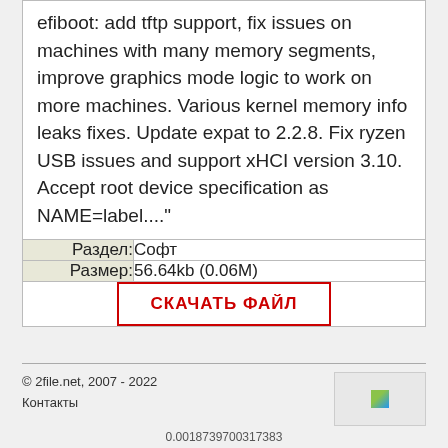efiboot: add tftp support, fix issues on machines with many memory segments, improve graphics mode logic to work on more machines. Various kernel memory info leaks fixes. Update expat to 2.2.8. Fix ryzen USB issues and support xHCI version 3.10. Accept root device specification as NAME=label...."
| Раздел: | Софт |
| Размер: | 56.64kb (0.06M) |
СКАЧАТЬ ФАЙЛ
© 2file.net, 2007 - 2022
Контакты
0.0018739700317383